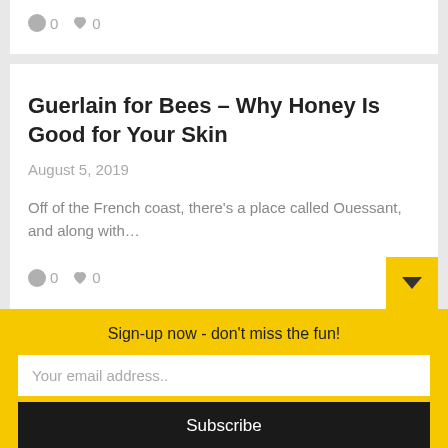0   0
Guerlain for Bees – Why Honey Is Good for Your Skin
August 5, 2019
Off of the French coast, there's a place called Ouessant, and along with…
0   0
Sign-up now - don't miss the fun!
Your email address..
Subscribe